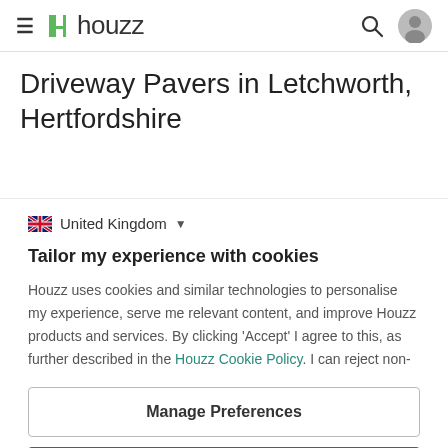houzz
Driveway Pavers in Letchworth, Hertfordshire
United Kingdom
Tailor my experience with cookies
Houzz uses cookies and similar technologies to personalise my experience, serve me relevant content, and improve Houzz products and services. By clicking 'Accept' I agree to this, as further described in the Houzz Cookie Policy. I can reject non-
Manage Preferences
Accept